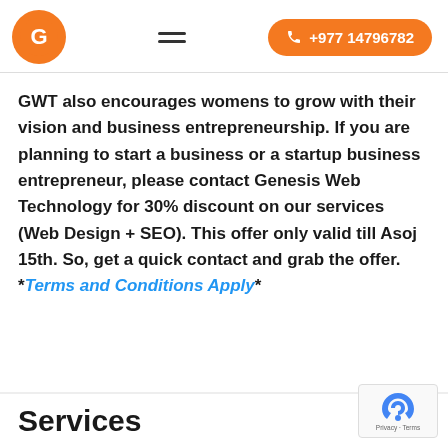GWT logo | hamburger menu | +977 14796782
GWT also encourages womens to grow with their vision and business entrepreneurship. If you are planning to start a business or a startup business entrepreneur, please contact Genesis Web Technology for 30% discount on our services (Web Design + SEO). This offer only valid till Asoj 15th. So, get a quick contact and grab the offer. *Terms and Conditions Apply*
Services